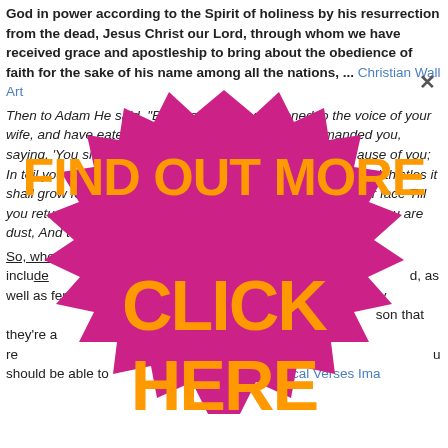God in power according to the Spirit of holiness by his resurrection from the dead, Jesus Christ our Lord, through whom we have received grace and apostleship to bring about the obedience of faith for the sake of his name among all the nations, ... Christian Wall Art
Then to Adam He said, "Because you have listened to the voice of your wife, and have eaten from the tree about which I commanded you, saying, 'You shall not eat from it'; Cursed is the ground because of you; In toil you will eat of it All the days of your life. "Both thorns and thistles it shall grow for you; And you will eat bread by the sweat of your face Till you return to the ground, Because from it you were taken; For you are dust, And to dust you shall return." Some verses
So, who are the best gospel artists? A list of gospel artists has to include Kirk Franklin, Marvin Sapp, and as well as female Christian artists like Yolanda Adams and Shirley Caesar who are considered some of the best gospel artists. The reason that they're all still popular today and their artists are well recognized in their profession. When you think about the best gospel artists, you should be able to reference Biblical Verses Images
[Figure (infographic): Promotional ad overlay with magenta/pink starburst badge shape. Top portion shows 'FIND OUT MORE' in large bold orange text on magenta background. Bottom portion of starburst badge shows 'CLICK HERE' in large bold orange text on magenta background. The badge overlaps most of the page content.]